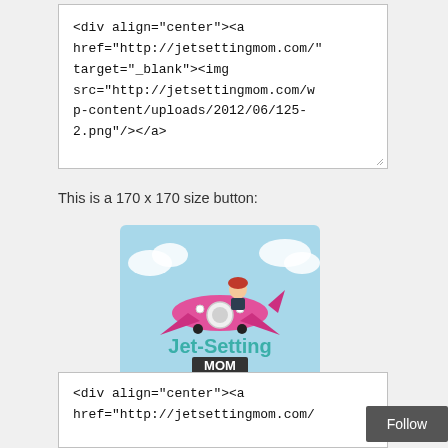<div align="center"><a href="http://jetsettingmom.com/" target="_blank"><img src="http://jetsettingmom.com/wp-content/uploads/2012/06/125-2.png"/></a>
This is a 170 x 170 size button:
[Figure (illustration): Jet-Setting Mom logo/button: cartoon woman riding on a pink airplane above water, teal text 'Jet-Setting MOM' with 'Adventures Await!' on a teal banner]
<div align="center"><a href="http://jetsettingmom.com/"